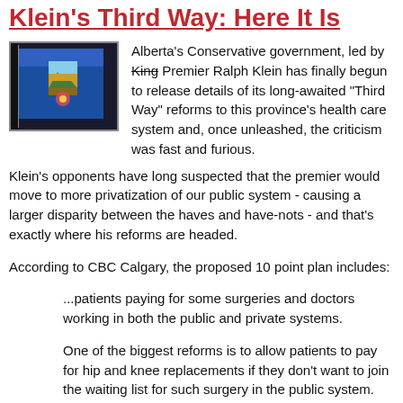Klein's Third Way: Here It Is
[Figure (photo): Alberta flag photo showing a blue flag with Alberta shield emblem]
Alberta's Conservative government, led by King Premier Ralph Klein has finally begun to release details of its long-awaited "Third Way" reforms to this province's health care system and, once unleashed, the criticism was fast and furious.
Klein's opponents have long suspected that the premier would move to more privatization of our public system - causing a larger disparity between the haves and have-nots - and that's exactly where his reforms are headed.
According to CBC Calgary, the proposed 10 point plan includes:
...patients paying for some surgeries and doctors working in both the public and private systems.
One of the biggest reforms is to allow patients to pay for hip and knee replacements if they don't want to join the waiting list for such surgery in the public system.